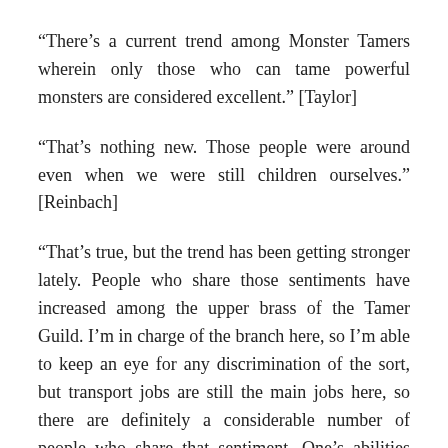“There’s a current trend among Monster Tamers wherein only those who can tame powerful monsters are considered excellent.” [Taylor]
“That’s nothing new. Those people were around even when we were still children ourselves.” [Reinbach]
“That’s true, but the trend has been getting stronger lately. People who share those sentiments have increased among the upper brass of the Tamer Guild. I’m in charge of the branch here, so I’m able to keep an eye for any discrimination of the sort, but transport jobs are still the main jobs here, so there are definitely a considerable number of people who share that sentiment. One’s abilities aren’t really meant to be dictated by such meaningless standard, but unfortunately…” [Taylor]